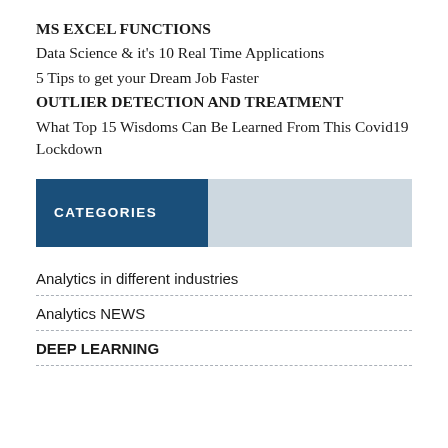MS EXCEL FUNCTIONS
Data Science & it's 10 Real Time Applications
5 Tips to get your Dream Job Faster
OUTLIER DETECTION AND TREATMENT
What Top 15 Wisdoms Can Be Learned From This Covid19 Lockdown
CATEGORIES
Analytics in different industries
Analytics NEWS
DEEP LEARNING